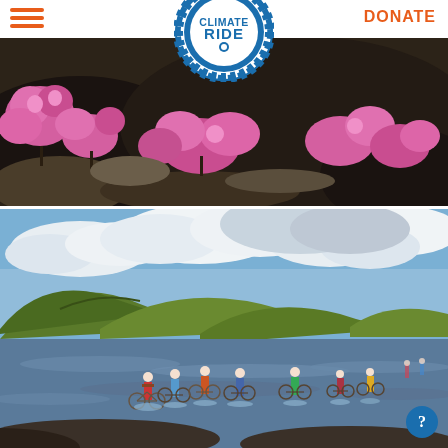[Figure (logo): Climate Ride circular logo with gear/cog border, blue and white, text reads CLIMATE RIDE]
DONATE
[Figure (photo): Close-up of bright pink/magenta wildflowers growing on dark volcanic rock/soil in Iceland]
[Figure (photo): Group of cyclists carrying bicycles across a wide shallow river in Iceland, with green mountains and dramatic clouds in background]